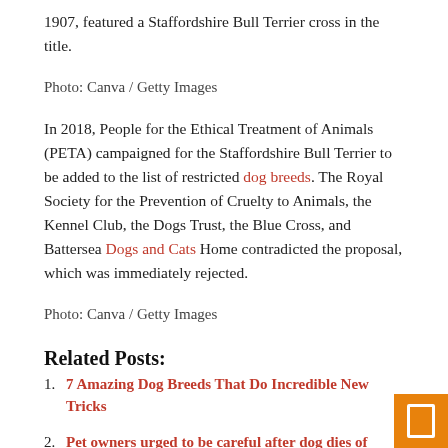1907, featured a Staffordshire Bull Terrier cross in the title.
Photo: Canva / Getty Images
In 2018, People for the Ethical Treatment of Animals (PETA) campaigned for the Staffordshire Bull Terrier to be added to the list of restricted dog breeds. The Royal Society for the Prevention of Cruelty to Animals, the Kennel Club, the Dogs Trust, the Blue Cross, and Battersea Dogs and Cats Home contradicted the proposal, which was immediately rejected.
Photo: Canva / Getty Images
Related Posts:
7 Amazing Dog Breeds That Do Incredible New Tricks
Pet owners urged to be careful after dog dies of extreme heat – NBC Los Angeles
Cleaning dog ears
Mixed breeds are the top trend breeds in America, with cattle dogs leading the way in Denver